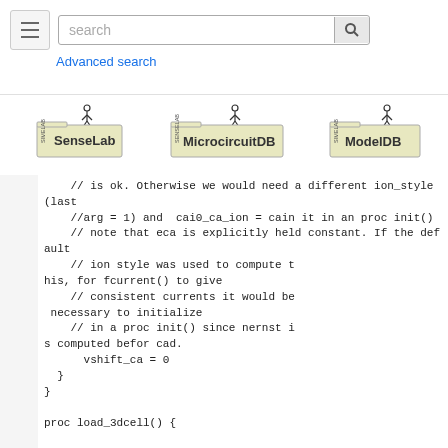search [search bar] Advanced search
[Figure (logo): SenseLab logo with stick figure on folder]
[Figure (logo): MicrocircuitDB logo with stick figure on folder]
[Figure (logo): ModelDB logo with stick figure on folder]
// is ok. Otherwise we would need a different ion_style (last
    //arg = 1) and  cai0_ca_ion = cain it in an proc init()
    // note that eca is explicitly held constant. If the default
    // ion style was used to compute this, for fcurrent() to give
    // consistent currents it would be necessary to initialize
    // in a proc init() since nernst is computed befor cad.
      vshift_ca = 0
  }
}

proc load_3dcell() {

// $s1 filename